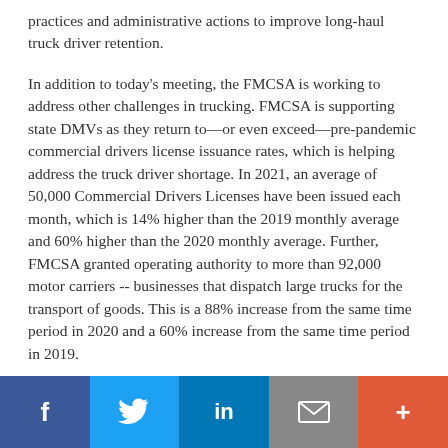practices and administrative actions to improve long-haul truck driver retention.
In addition to today's meeting, the FMCSA is working to address other challenges in trucking. FMCSA is supporting state DMVs as they return to—or even exceed—pre-pandemic commercial drivers license issuance rates, which is helping address the truck driver shortage. In 2021, an average of 50,000 Commercial Drivers Licenses have been issued each month, which is 14% higher than the 2019 monthly average and 60% higher than the 2020 monthly average. Further, FMCSA granted operating authority to more than 92,000 motor carriers -- businesses that dispatch large trucks for the transport of goods. This is a 88% increase from the same time period in 2020 and a 60% increase from the same time period in 2019.
f | Twitter bird | in | envelope | +